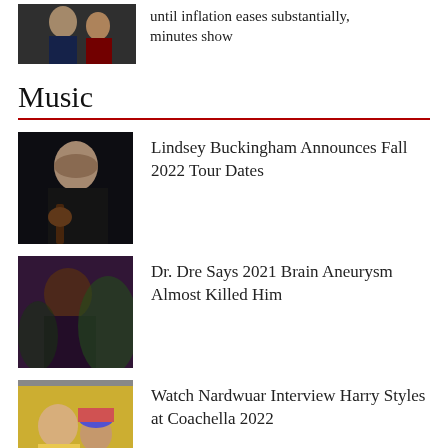[Figure (photo): Photo of politician in suit]
until inflation eases substantially, minutes show
Music
[Figure (photo): Photo of Lindsey Buckingham with guitar]
Lindsey Buckingham Announces Fall 2022 Tour Dates
[Figure (photo): Photo of Dr. Dre]
Dr. Dre Says 2021 Brain Aneurysm Almost Killed Him
[Figure (photo): Photo of Harry Styles and Nardwuar at Coachella]
Watch Nardwuar Interview Harry Styles at Coachella 2022